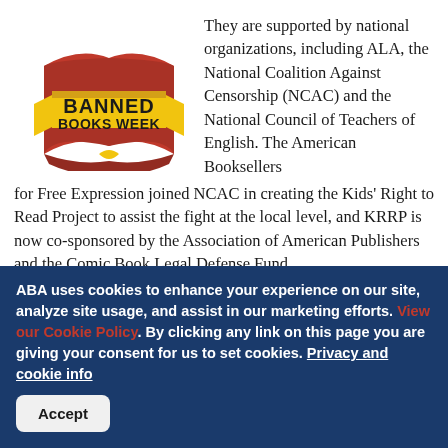[Figure (logo): Banned Books Week logo: red open book with yellow ribbon banner reading 'BANNED BOOKS WEEK']
They are supported by national organizations, including ALA, the National Coalition Against Censorship (NCAC) and the National Council of Teachers of English. The American Booksellers for Free Expression joined NCAC in creating the Kids' Right to Read Project to assist the fight at the local level, and KRRP is now co-sponsored by the Association of American Publishers and the Comic Book Legal Defense Fund.
ABA uses cookies to enhance your experience on our site, analyze site usage, and assist in our marketing efforts. View our Cookie Policy. By clicking any link on this page you are giving your consent for us to set cookies. Privacy and cookie info
Accept